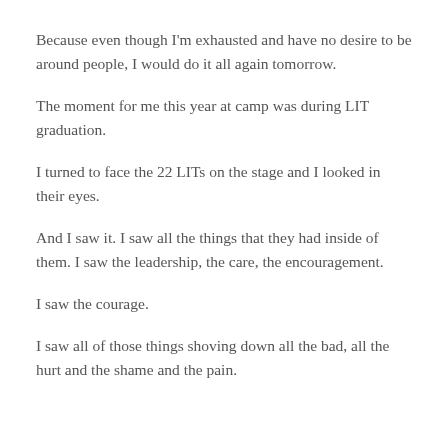Because even though I'm exhausted and have no desire to be around people, I would do it all again tomorrow.
The moment for me this year at camp was during LIT graduation.
I turned to face the 22 LITs on the stage and I looked in their eyes.
And I saw it. I saw all the things that they had inside of them. I saw the leadership, the care, the encouragement.
I saw the courage.
I saw all of those things shoving down all the bad, all the hurt and the shame and the pain.